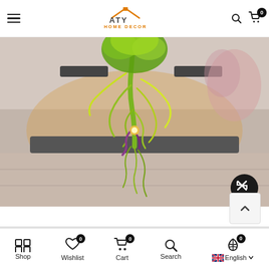[Figure (logo): ATY Home Decor logo with orange house/tent icon above text]
[Figure (photo): Large green glass art chandelier/sculpture hanging in an interior space with beige walls and tile floor, Chihuly-style glass art]
[Figure (screenshot): Website navigation bar at bottom with Shop, Wishlist (0), Cart (0), Search icons, and English language selector with UK flag]